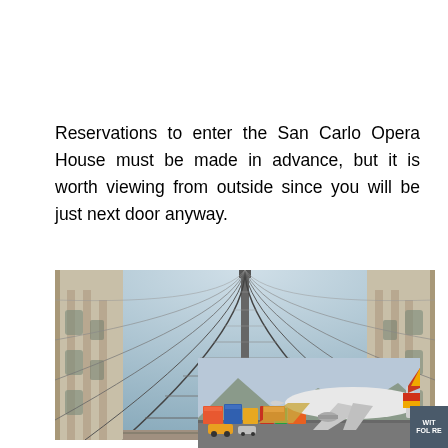Reservations to enter the San Carlo Opera House must be made in advance, but it is worth viewing from outside since you will be just next door anyway.
[Figure (photo): Interior view of a large glass-roofed gallery arcade with ornate classical architecture on both sides, looking up at a curved iron and glass ceiling structure.]
[Figure (photo): An airplane being loaded with cargo on a tarmac, with colorful cargo containers visible and the aircraft tail showing red and yellow colors.]